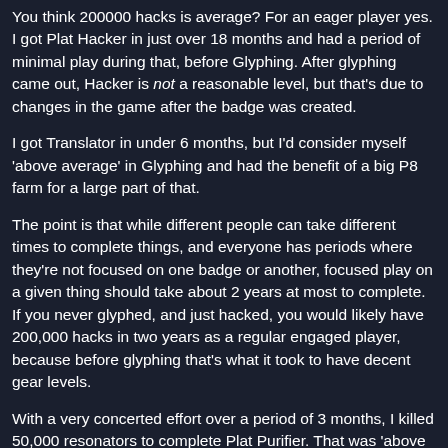You think 200000 hacks is average? For an eager player yes. I got Plat Hacker in just over 18 months and had a period of minimal play during that, before Glyphing. After glyphing came out, Hacker is not a reasonable level, but that's due to changes in the game after the badge was created.
I got Translator in under 6 months, but I'd consider myself 'above average' in Glyphing and had the benefit of a big P8 farm for a large part of that.
The point is that while different people can take different times to complete things, and everyone has periods where they're not focused on one badge or another, focused play on a given thing should take about 2 years at most to complete. If you never glyphed, and just hacked, you would likely have 200,000 hacks in two years as a regular engaged player, because before glyphing that's what it took to have decent gear levels.
With a very concerted effort over a period of 3 months, I killed 50,000 resonators to complete Plat Purifier. That was 'above and beyond', but if I'd continued that, I'd have gotten Black Purifier in 18 months. And 'back in the day' (before we got other game changes and more badges), Purifier was considered one